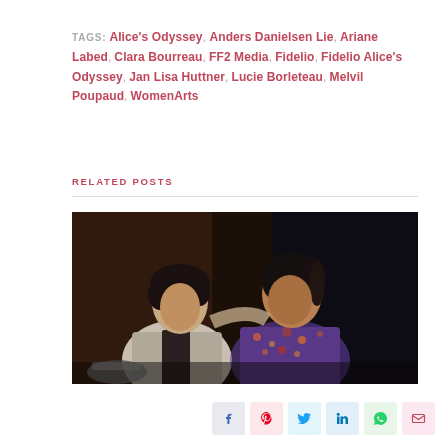TAGS: Alice's Odyssey, Anders Danielsen Lie, Ariane Labed, Clara Bourreau, FF2 Media, Fidelio, Fidelio Alice's Odyssey, Jan Lisa Huttner, Lucie Borleteau, Melvil Poupaud, WomenArts
RELATED POSTS
[Figure (photo): Two women sitting close together, one with short dark hair leaning toward the other who has a braided bun, in a film still scene.]